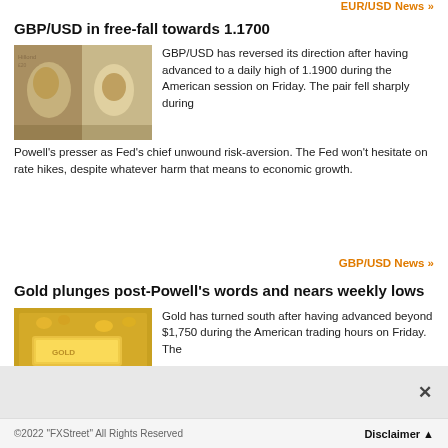EUR/USD News >>
GBP/USD in free-fall towards 1.1700
[Figure (photo): British pound notes and US dollar bills]
GBP/USD has reversed its direction after having advanced to a daily high of 1.1900 during the American session on Friday. The pair fell sharply during Powell's presser as Fed's chief unwound risk-aversion. The Fed won't hesitate on rate hikes, despite whatever harm that means to economic growth.
GBP/USD News >>
Gold plunges post-Powell's words and nears weekly lows
[Figure (photo): Gold bars and gold nuggets]
Gold has turned south after having advanced beyond $1,750 during the American trading hours on Friday. The
©2022 "FXStreet" All Rights Reserved    Disclaimer ▲